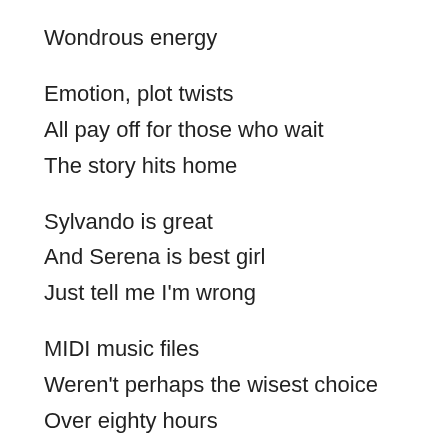Wondrous energy
Emotion, plot twists
All pay off for those who wait
The story hits home
Sylvando is great
And Serena is best girl
Just tell me I'm wrong
MIDI music files
Weren't perhaps the wisest choice
Over eighty hours
But everything else